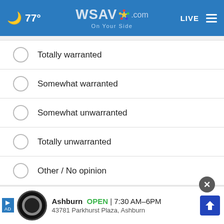🌙 77° WSAV.com On Your Side | LIVE
Totally warranted
Somewhat warranted
Somewhat unwarranted
Totally unwarranted
Other / No opinion
NEXT *
* By clicking "NEXT" you agree to the following: We use cookies to track your survey answers. If you would like to continue with this survey, please read and agree to the CivicScience Privacy Policy and Terms of Service
[Figure (screenshot): Bottom advertisement banner for Firestone Auto Care: Ashburn OPEN 7:30AM–6PM, 43781 Parkhurst Plaza, Ashburn, with navigation arrow icon]